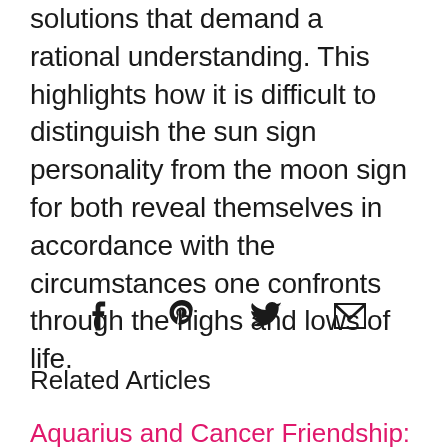solutions that demand a rational understanding. This highlights how it is difficult to distinguish the sun sign personality from the moon sign for both reveal themselves in accordance with the circumstances one confronts through the highs and lows of life.
[Figure (infographic): Social sharing icons: Facebook (f), Pinterest (p), Twitter (bird), Email (envelope)]
Related Articles
Aquarius and Cancer Friendship: